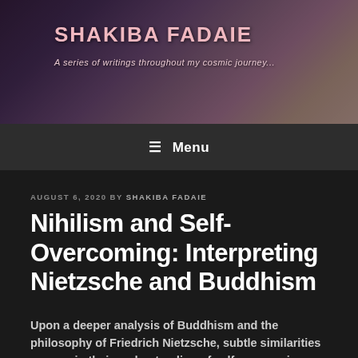SHAKIBA FADAIE
A series of writings throughout my cosmic journey...
≡ Menu
AUGUST 6, 2020 BY SHAKIBA FADAIE
Nihilism and Self-Overcoming: Interpreting Nietzsche and Buddhism
Upon a deeper analysis of Buddhism and the philosophy of Friedrich Nietzsche, subtle similarities emerge in their understanding of self-overcoming. Both philosophies assert that human life is characterized by suffering and the notion of 'self' as a mere construction. Through